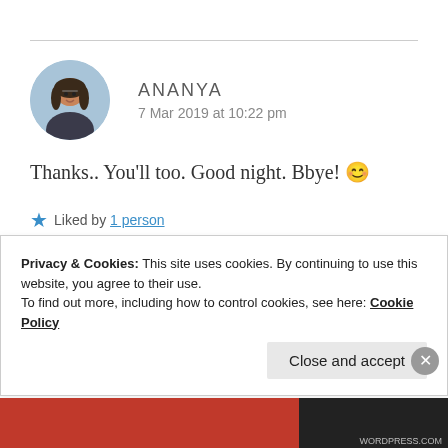ANANYA
7 Mar 2019 at 10:22 pm
Thanks.. You'll too. Good night. Bbye! 😊
★ Liked by 1 person
Privacy & Cookies: This site uses cookies. By continuing to use this website, you agree to their use.
To find out more, including how to control cookies, see here: Cookie Policy
Close and accept